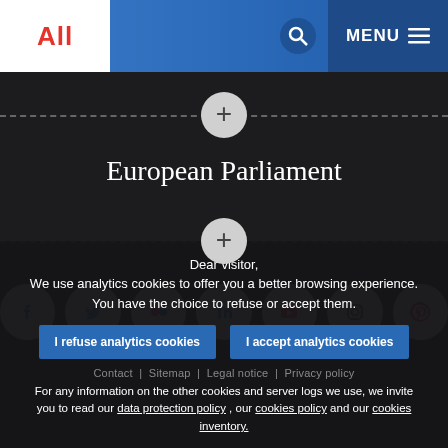All | European Parliament | Search | MENU
[Figure (screenshot): Dotted horizontal divider line with a white circle containing a plus (+) sign, first divider]
European Parliament
[Figure (screenshot): Dotted horizontal divider line with a white circle containing a plus (+) sign, second divider]
[Figure (screenshot): Row of social media icons: Facebook, Twitter, Flickr, LinkedIn, YouTube, Instagram, Pinterest]
Dear visitor,
We use analytics cookies to offer you a better browsing experience. You have the choice to refuse or accept them.
I refuse analytics cookies | I accept analytics cookies
Contact | Sitemap | Legal notice | Privacy policy
For any information on the other cookies and server logs we use, we invite you to read our data protection policy , our cookies policy and our cookies inventory.